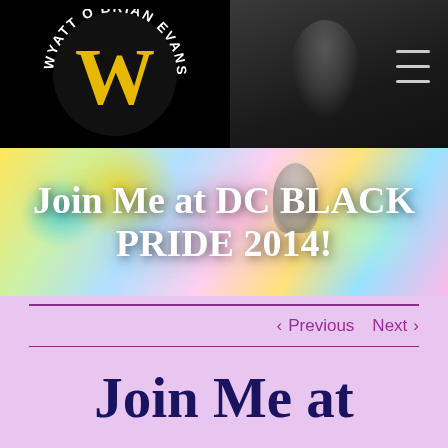[Figure (logo): Wyatt O'Brian Evans logo — circular text 'WYATT O'BRIAN EVANS' around a large gold W on black background]
[Figure (photo): Blurred colorful powder explosion background with microphone, used as hero banner image]
Join Me at DC BLACK PRIDE 2014!
< Previous   Next >
Join Me at